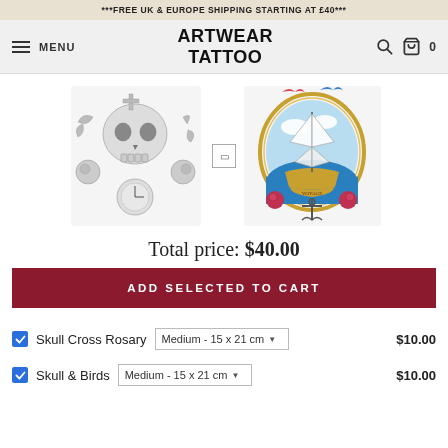***FREE UK & EUROPE SHIPPING STARTING AT £40***
ARTWEAR TATTOO — MENU, Search, Cart 0
[Figure (illustration): Black and white skull with roses, clock, and cross tattoo design]
[Figure (illustration): Colorful traditional sailing ship tattoo with birds and anchor in oval frame]
Total price: $40.00
ADD SELECTED TO CART
Skull Cross Rosary  Medium - 15 x 21 cm  $10.00
Skull & Birds  Medium - 15 x 21 cm  $10.00